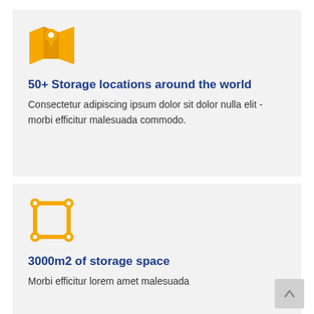[Figure (illustration): Yellow map icon with location pin]
50+ Storage locations around the world
Consectetur adipiscing ipsum dolor sit dolor nulla elit - morbi efficitur malesuada commodo.
[Figure (illustration): Yellow square frame/bounding box icon with corner handles]
3000m2 of storage space
Morbi efficitur lorem amet malesuada